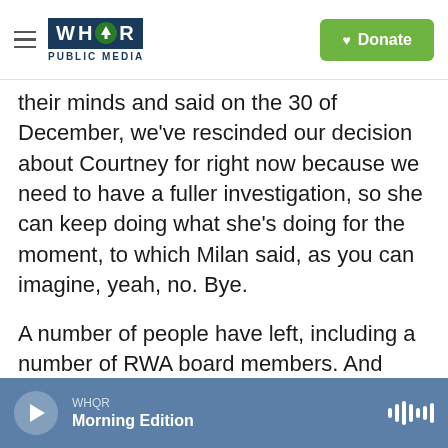WHQR PUBLIC MEDIA | Donate
their minds and said on the 30 of December, we've rescinded our decision about Courtney for right now because we need to have a fuller investigation, so she can keep doing what she's doing for the moment, to which Milan said, as you can imagine, yeah, no. Bye.

A number of people have left, including a number of RWA board members. And that's troublesome because this is the most diverse board RWA has had ever, ever. And, of course, publishing is squirming because this is more than a billion-dollar industry. And I think especially the gatekeepers to
WHQR Morning Edition